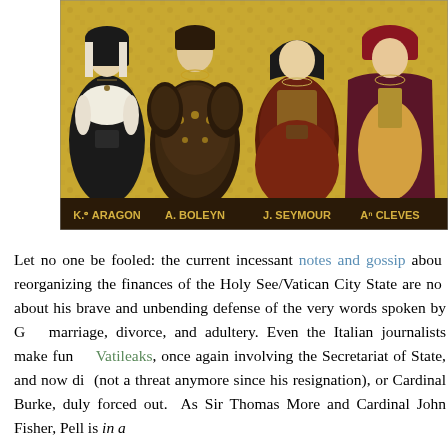[Figure (illustration): Painting showing four of Henry VIII's wives in period costume against a gold ornate background. Labels at the bottom read: K. of ARAGON, A. BOLEYN, J. SEYMOUR, An. CLEVES]
Let no one be fooled: the current incessant notes and gossip about reorganizing the finances of the Holy See/Vatican City State are not about his brave and unbending defense of the very words spoken by G on marriage, divorce, and adultery. Even the Italian journalists make fun of Vatileaks, once again involving the Secretariat of State, and now di (not a threat anymore since his resignation), or Cardinal Burke, duly forced out. As Sir Thomas More and Cardinal John Fisher, Pell is in a